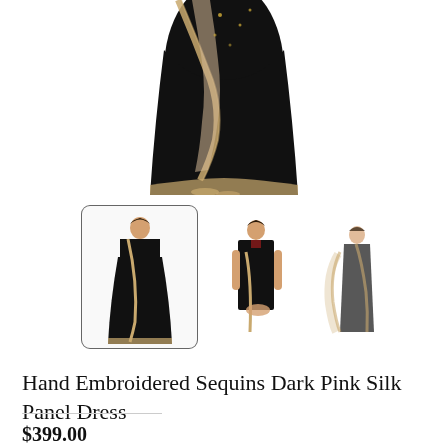[Figure (photo): Main product photo: lower half of a female model wearing a long black dress with gold/beige border trim, holding a dupatta/scarf with gold trim, visible feet with sandals]
[Figure (photo): Three thumbnail images of a black silk panel dress: first thumbnail (selected, with border) shows full-length front view of model in long black dress with gold trim dupatta; second thumbnail shows close-up chest/torso view; third thumbnail shows back/side view]
Hand Embroidered Sequins Dark Pink Silk Panel Dress
$399.00